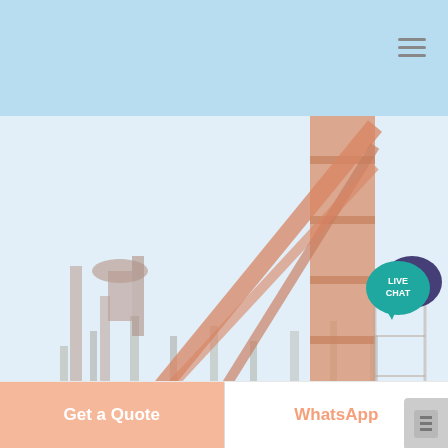[Figure (photo): Industrial facility with large orange crane/tower structure, steel framework, conveyor belts, and a small white building, taken outdoors with leafless trees in the background. Image has a faded/washed-out appearance.]
vibro pulse russia grinder
Get a Quote
WhatsApp